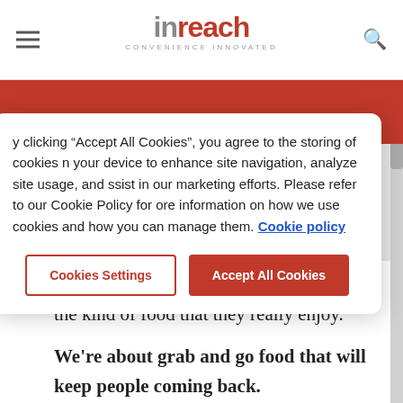inreach — CONVENIENCE INNOVATED
By clicking “Accept All Cookies”, you agree to the storing of cookies on your device to enhance site navigation, analyze site usage, and assist in our marketing efforts. Please refer to our Cookie Policy for more information on how we use cookies and how you can manage them. Cookie policy
latest and greatest snacks and drinks, and the kind of food that they really enjoy.
We’re about grab and go food that will keep people coming back.